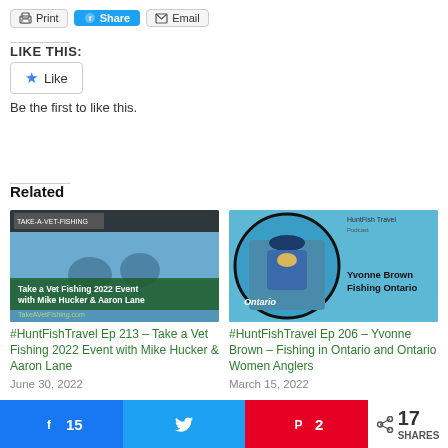[Figure (screenshot): Top toolbar with Print, Share, and Email buttons]
LIKE THIS:
[Figure (other): Like button widget with star icon]
Be the first to like this.
Related
[Figure (photo): Take a Vet Fishing 2022 Event thumbnail showing people fishing with overlay text]
#HuntFishTravel Ep 213 – Take a Vet Fishing 2022 Event with Mike Hucker & Aaron Lane
June 30, 2022
[Figure (photo): HuntFish Travel Podcast thumbnail with Yvonne Brown Fishing Ontario]
#HuntFishTravel Ep 206 – Yvonne Brown – Fishing in Ontario and Ontario Women Anglers
March 15, 2022
Facebook 15 | Twitter | Pinterest 2 | 17 SHARES